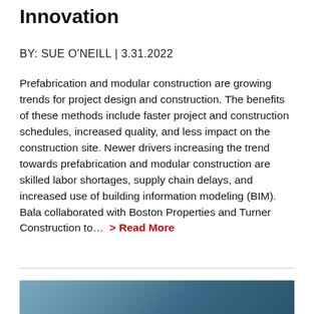Innovation
BY: SUE O'NEILL | 3.31.2022
Prefabrication and modular construction are growing trends for project design and construction. The benefits of these methods include faster project and construction schedules, increased quality, and less impact on the construction site. Newer drivers increasing the trend towards prefabrication and modular construction are skilled labor shortages, supply chain delays, and increased use of building information modeling (BIM). Bala collaborated with Boston Properties and Turner Construction to… > Read More
[Figure (photo): Photograph strip at the bottom of the page showing a building or construction scene with blue-gray tones]